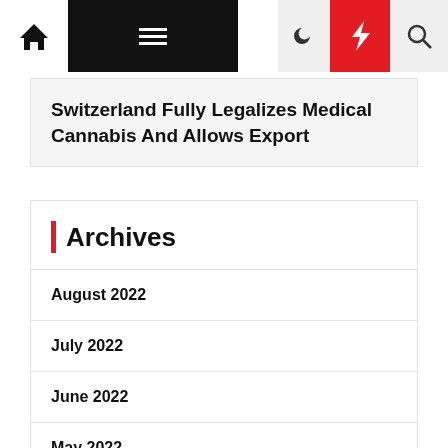Navigation bar with home, menu, moon, lightning, and search icons
Switzerland Fully Legalizes Medical Cannabis And Allows Export
Archives
August 2022
July 2022
June 2022
May 2022
April 2022
March 2022